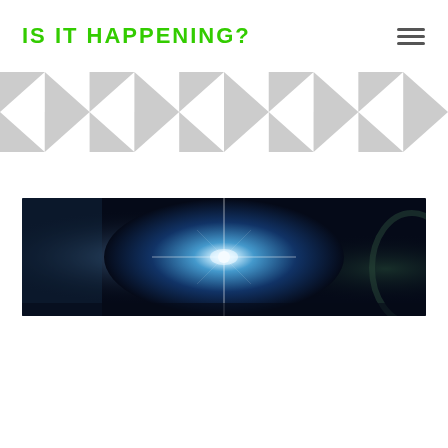IS IT HAPPENING?
[Figure (illustration): Checkerboard triangle pattern strip in gray and white]
[Figure (photo): Wide banner image of a bright star or light flare in space with deep blue cosmic background, viewed from near a planet surface]